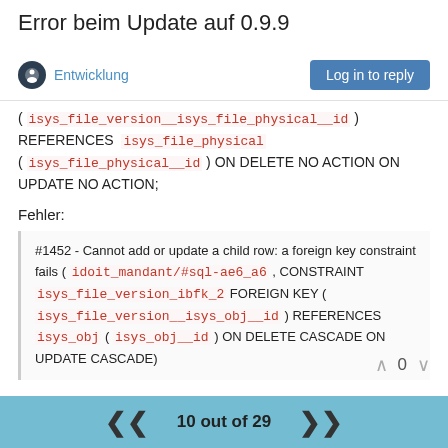Error beim Update auf 0.9.9
Entwicklung | Log in to reply
( isys_file_version__isys_file_physical__id ) REFERENCES isys_file_physical ( isys_file_physical__id ) ON DELETE NO ACTION ON UPDATE NO ACTION;
Fehler:
#1452 - Cannot add or update a child row: a foreign key constraint fails ( idoit_mandant/#sql-ae6_a6 , CONSTRAINT isys_file_version_ibfk_2 FOREIGN KEY ( isys_file_version__isys_obj__id ) REFERENCES isys_obj ( isys_obj__id ) ON DELETE CASCADE ON UPDATE CASCADE)
10 out of 29